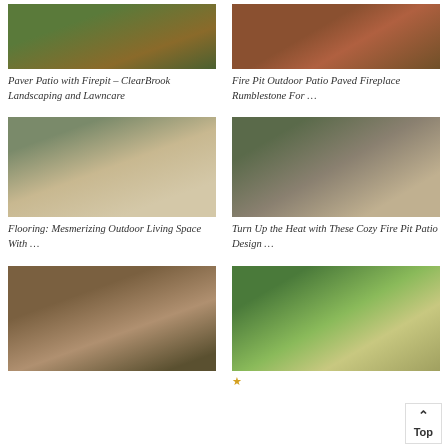[Figure (photo): Paver patio with firepit outdoor area, aerial view with green lawn and mulch]
Paver Patio with Firepit – ClearBrook Landscaping and Lawncare
[Figure (photo): Fire pit outdoor patio with red/brick paving stones]
Fire Pit Outdoor Patio Paved Fireplace Rumblestone For …
[Figure (photo): Outdoor patio with circular fire pit and white Adirondack chairs on paver stones]
Flooring: Mesmerizing Outdoor Living Space With …
[Figure (photo): Tiered outdoor patio with circular stone fire pit and dark patio furniture]
Turn Up the Heat with These Cozy Fire Pit Patio Design …
[Figure (photo): Outdoor pergola with green cushioned seating and curved patio at dusk]
[Figure (photo): Nighttime outdoor patio with fire pit, dining area, lights and blue slide in background]